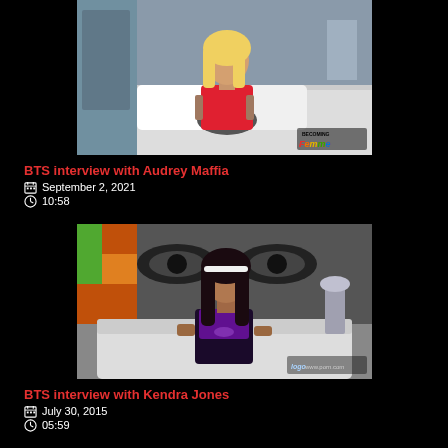[Figure (photo): Thumbnail image of a woman with blonde hair wearing a red top, sitting in a hotel room with white bedding. 'Becoming Femme' logo in bottom right corner.]
BTS interview with Audrey Maffia
September 2, 2021
10:58
[Figure (photo): Thumbnail image of a woman with dark hair wearing a purple and black outfit, sitting on a couch in a hotel room. Logo in bottom right corner.]
BTS interview with Kendra Jones
July 30, 2015
05:59